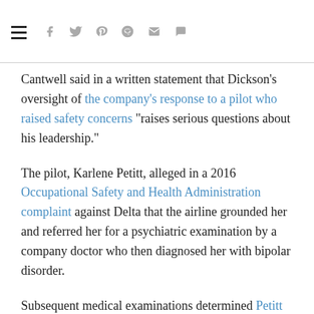navigation bar with hamburger menu and social share icons
Cantwell said in a written statement that Dickson's oversight of the company's response to a pilot who raised safety concerns "raises serious questions about his leadership."
The pilot, Karlene Petitt, alleged in a 2016 Occupational Safety and Health Administration complaint against Delta that the airline grounded her and referred her for a psychiatric examination by a company doctor who then diagnosed her with bipolar disorder.
Subsequent medical examinations determined Petitt did not suffer from bipolar disorder and later went to flying for Delta. But...